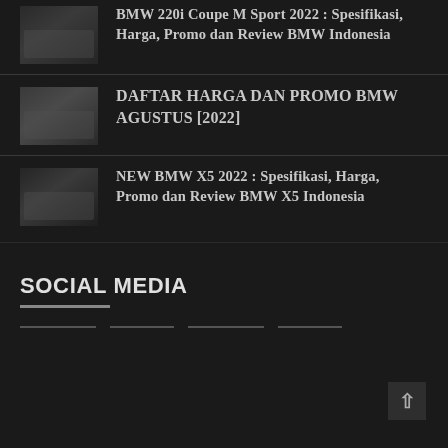BMW 220i Coupe M Sport 2022 : Spesifikasi, Harga, Promo dan Review BMW Indonesia
DAFTAR HARGA DAN PROMO BMW AGUSTUS [2022]
NEW BMW X5 2022 : Spesifikasi, Harga, Promo dan Review BMW X5 Indonesia
SOCIAL MEDIA